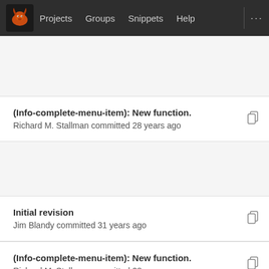Projects  Groups  Snippets  Help
(Info-complete-menu-item): New function.
Richard M. Stallman committed 28 years ago
Initial revision
Jim Blandy committed 31 years ago
(Info-complete-menu-item): New function.
Richard M. Stallman committed 28 years ago
Initial revision
Jim Blandy committed 31 years ago
(Info-complete-menu-item): New function.